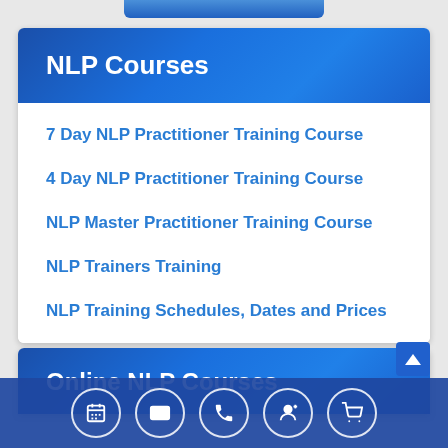NLP Courses
7 Day NLP Practitioner Training Course
4 Day NLP Practitioner Training Course
NLP Master Practitioner Training Course
NLP Trainers Training
NLP Training Schedules, Dates and Prices
Online NLP Courses